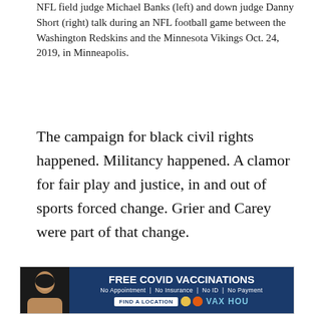NFL field judge Michael Banks (left) and down judge Danny Short (right) talk during an NFL football game between the Washington Redskins and the Minnesota Vikings Oct. 24, 2019, in Minneapolis.
The campaign for black civil rights happened. Militancy happened. A clamor for fair play and justice, in and out of sports forced change. Grier and Carey were part of that change.
Grier, who was the director of officiating for the Mid-Eastern Athletic Conference while working as an NFL official, made sure that qualified black candidates were put on the NFL's radar screen.
[Figure (photo): Advertisement banner: FREE COVID VACCINATIONS - No Appointment | No Insurance | No ID | No Payment. FIND A LOCATION button with VAX HOU branding. Features a photo of a woman's profile on the left side.]